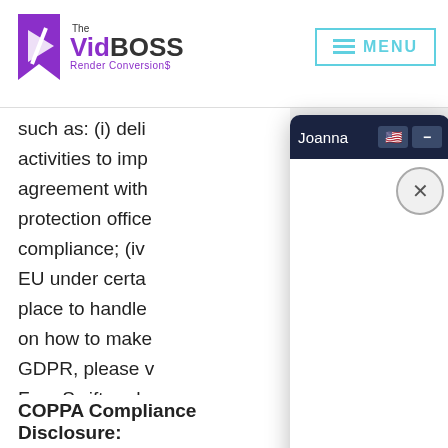[Figure (logo): VidBoss Render Conversions logo with purple bookmark icon]
[Figure (screenshot): Chat overlay widget with dark blue header labeled 'Joanna', flag icon, minimize button, and close (X) button over white chat body area]
such as: (i) deli... activities to imp... agreement with... protection office... compliance; (iv)... EU under certa... n place to handle... on how to make... GDPR, please v... FormSwift and ... for determining... compliant with G... use you make o... liability your co... compliance issu...
COPPA Compliance Disclosure: